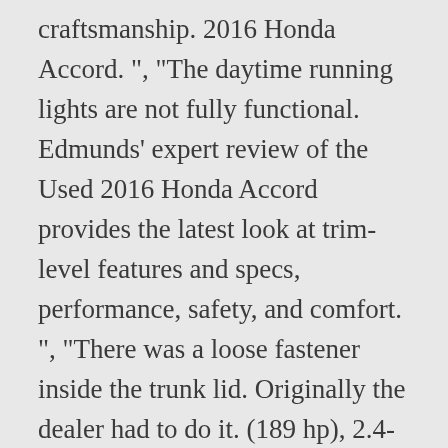craftsmanship. 2016 Honda Accord. ", "The daytime running lights are not fully functional. Edmunds' expert review of the Used 2016 Honda Accord provides the latest look at trim-level features and specs, performance, safety, and comfort. ", "There was a loose fastener inside the trunk lid. Originally the dealer had to do it. (189 hp), 2.4-liter N/A indicates that we did not receive a large enough sample size to provide data for a specific year. Page 10 The response is very slow. ", "I was told that the wind noise i experienced in my2013 honda accord were solved in the 16. not", "the car just has a lot of wind noise I think it just due to how the car is made not a defect", "Some wind rush by